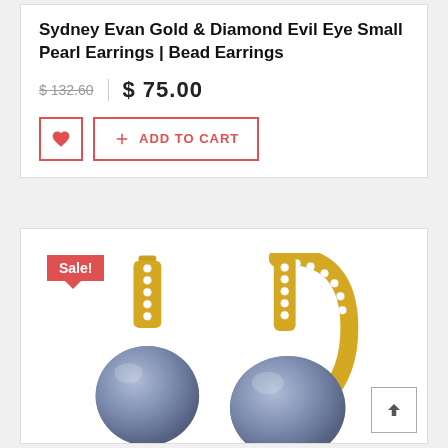Sydney Evan Gold & Diamond Evil Eye Small Pearl Earrings | Bead Earrings
$ 132.60  |  $ 75.00
[Figure (photo): Product photo of gold and diamond pearl earrings with blue/lavender beads, shown from two angles, with a red Sale! badge in top-left corner]